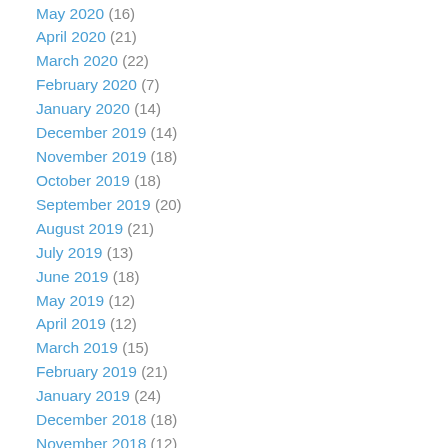May 2020 (16)
April 2020 (21)
March 2020 (22)
February 2020 (7)
January 2020 (14)
December 2019 (14)
November 2019 (18)
October 2019 (18)
September 2019 (20)
August 2019 (21)
July 2019 (13)
June 2019 (18)
May 2019 (12)
April 2019 (12)
March 2019 (15)
February 2019 (21)
January 2019 (24)
December 2018 (18)
November 2018 (12)
October 2018 (21)